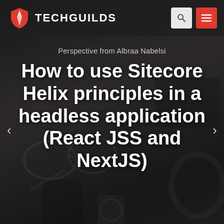[Figure (screenshot): Website header of TechGuilds showing a dark background with a shield/logo icon in red and white, 'TECHGUILDS' text in white, a search icon button and a red hamburger menu button on the right.]
TECHGUILDS
Perspective from Albraa Nabelsi
How to use Sitecore Helix principles in a headless application (React JSS and NextJS)